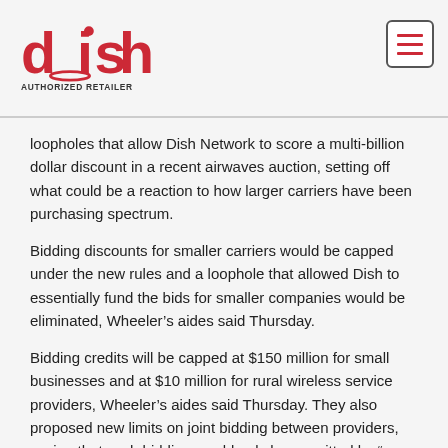[Figure (logo): DISH Authorized Retailer logo in red with hamburger menu icon in top right]
loopholes that allow Dish Network to score a multi-billion dollar discount in a recent airwaves auction, setting off what could be a reaction to how larger carriers have been purchasing spectrum.
Bidding discounts for smaller carriers would be capped under the new rules and a loophole that allowed Dish to essentially fund the bids for smaller companies would be eliminated, Wheeler’s aides said Thursday.
Bidding credits will be capped at $150 million for small businesses and at $10 million for rural wireless service providers, Wheeler’s aides said Thursday. They also proposed new limits on joint bidding between providers, saying that such bidding would only be permitted by “non-